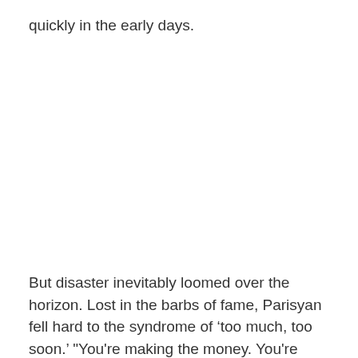quickly in the early days.
But disaster inevitably loomed over the horizon. Lost in the barbs of fame, Parisyan fell hard to the syndrome of ‘too much, too soon.’ "You're making the money. You're fighting. Fame. Everything. You've got women